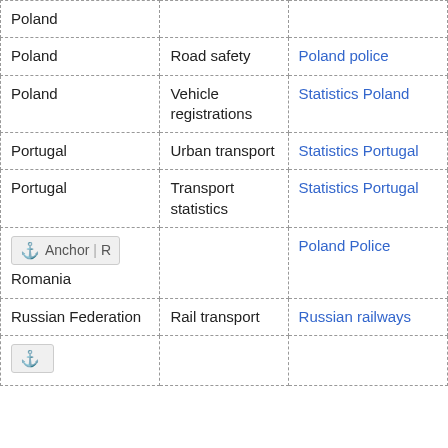| Country | Topic | Source |
| --- | --- | --- |
| Poland |  |  |
| Poland | Road safety | Poland police |
| Poland | Vehicle registrations | Statistics Poland |
| Portugal | Urban transport | Statistics Portugal |
| Portugal | Transport statistics | Statistics Portugal |
| [Anchor|R] Romania |  | Poland Police |
| Russian Federation | Rail transport | Russian railways |
| [Anchor] |  |  |